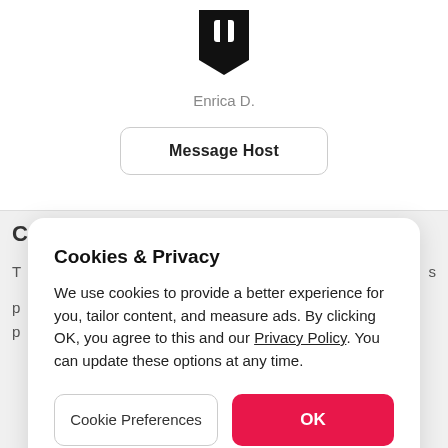[Figure (logo): Black shield/bookmark-shaped logo icon]
Enrica D.
Message Host
Cookies & Privacy
We use cookies to provide a better experience for you, tailor content, and measure ads. By clicking OK, you agree to this and our Privacy Policy. You can update these options at any time.
Cookie Preferences
OK